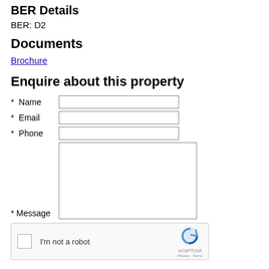BER Details
BER: D2
Documents
Brochure
Enquire about this property
* Name
* Email
* Phone
* Message
[Figure (screenshot): reCAPTCHA widget with checkbox labeled 'I'm not a robot' and reCAPTCHA logo]